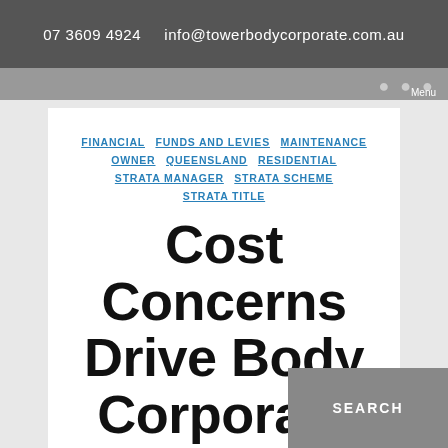07 3609 4924   info@towerbodycorporate.com.au
FINANCIAL  FUNDS AND LEVIES  MAINTENANCE  OWNER  QUEENSLAND  RESIDENTIAL  STRATA MANAGER  STRATA SCHEME  STRATA TITLE
Cost Concerns Drive Body Corporate Agenda